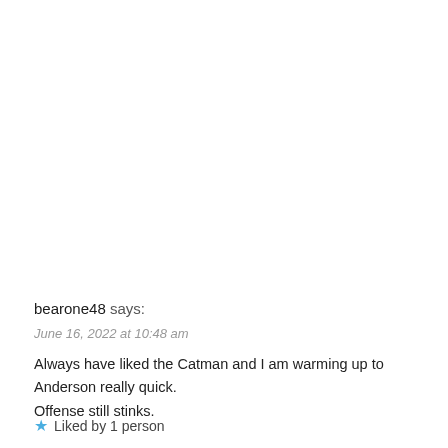bearone48 says:
June 16, 2022 at 10:48 am
Always have liked the Catman and I am warming up to Anderson really quick. Offense still stinks.
Liked by 1 person